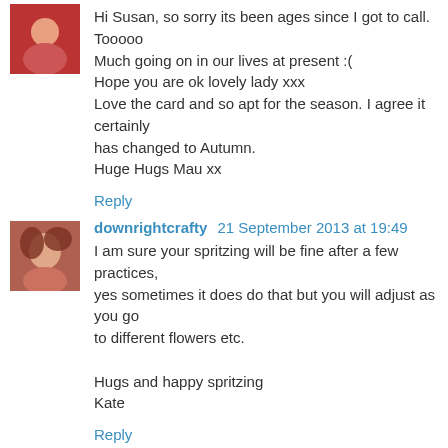Hi Susan, so sorry its been ages since I got to call. Tooooo Much going on in our lives at present :(
Hope you are ok lovely lady xxx
Love the card and so apt for the season. I agree it certainly has changed to Autumn.
Huge Hugs Mau xx
Reply
downrightcrafty 21 September 2013 at 19:49
I am sure your spritzing will be fine after a few practices, yes sometimes it does do that but you will adjust as you go to different flowers etc.

Hugs and happy spritzing
Kate
Reply
Christine 22 September 2013 at 20:20